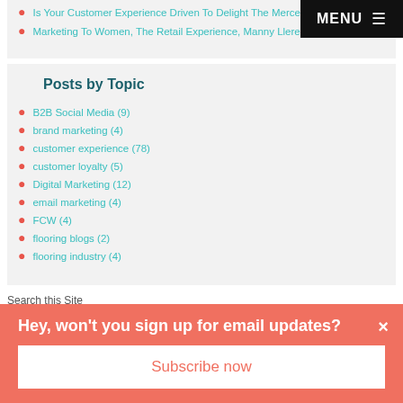Is Your Customer Experience Driven To Delight The Mercedes-Benz Way?
Marketing To Women, The Retail Experience, Manny Llerena and Flooring
Posts by Topic
B2B Social Media (9)
brand marketing (4)
customer experience (78)
customer loyalty (5)
Digital Marketing (12)
email marketing (4)
FCW (4)
flooring blogs (2)
flooring industry (4)
Search this Site
Start typing and you'll see results below
Hey, won't you sign up for email updates?
Subscribe now